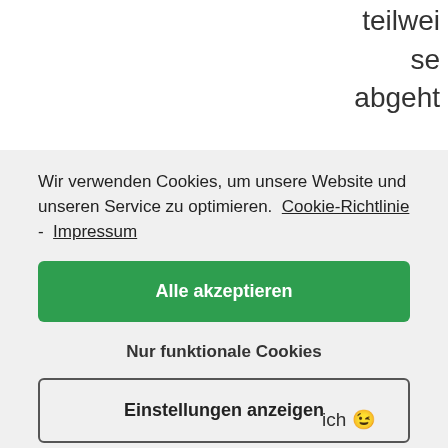teilweise abgeht
Wir verwenden Cookies, um unsere Website und unseren Service zu optimieren.  Cookie-Richtlinie -  Impressum
Alle akzeptieren
Nur funktionale Cookies
Einstellungen anzeigen
ich 😉